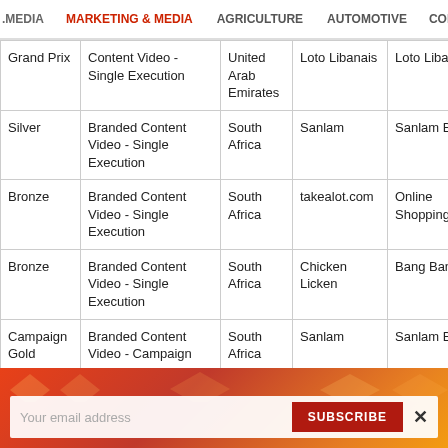MEDIA  MARKETING & MEDIA  AGRICULTURE  AUTOMOTIVE  CONSTRU
|  |  |  |  |  |  |
| --- | --- | --- | --- | --- | --- |
| Grand Prix | Content Video - Single Execution | United Arab Emirates | Loto Libanais | Loto Libanais | IMPAC Dubai |
| Silver | Branded Content Video - Single Execution | South Africa | Sanlam | Sanlam Brand | King J |
| Bronze | Branded Content Video - Single Execution | South Africa | takealot.com | Online Shopping | M&C S |
| Bronze | Branded Content Video - Single Execution | South Africa | Chicken Licken | Bang Bang Mix | Netwo |
| Campaign Gold | Branded Content Video - Campaign | South Africa | Sanlam | Sanlam Brand | King J |
Your email address  SUBSCRIBE  ×